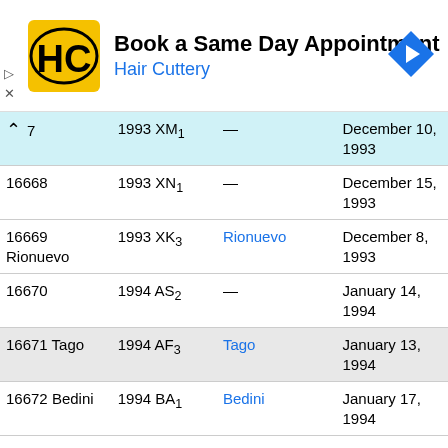[Figure (other): Hair Cuttery advertisement banner with logo, text 'Book a Same Day Appointment', 'Hair Cuttery', navigation arrow icon, and ad controls.]
| Number/Name | Provisional | Named after | Date |
| --- | --- | --- | --- |
| …7 | 1993 XM₁ | — | December 10, 1993 |
| 16668 | 1993 XN₁ | — | December 15, 1993 |
| 16669 Rionuevo | 1993 XK₃ | Rionuevo | December 8, 1993 |
| 16670 | 1994 AS₂ | — | January 14, 1994 |
| 16671 Tago | 1994 AF₃ | Tago | January 13, 1994 |
| 16672 Bedini | 1994 BA₁ | Bedini | January 17, 1994 |
| 16673 | 1994 BF₁ | — | January 23, 1994 |
| 16674 Birkeland | 1994 BK₃ | Birkeland | January 16, 1994 |
| 16675 Torii | 1994 CY₁ | Torii | February 8, 1994 |